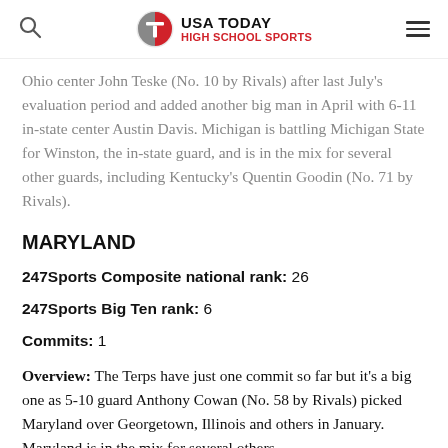USA TODAY HIGH SCHOOL SPORTS
Ohio center John Teske (No. 10 by Rivals) after last July's evaluation period and added another big man in April with 6-11 in-state center Austin Davis. Michigan is battling Michigan State for Winston, the in-state guard, and is in the mix for several other guards, including Kentucky's Quentin Goodin (No. 71 by Rivals).
MARYLAND
247Sports Composite national rank: 26
247Sports Big Ten rank: 6
Commits: 1
Overview: The Terps have just one commit so far but it's a big one as 5-10 guard Anthony Cowan (No. 58 by Rivals) picked Maryland over Georgetown, Illinois and others in January. Maryland is in the mix for several others,